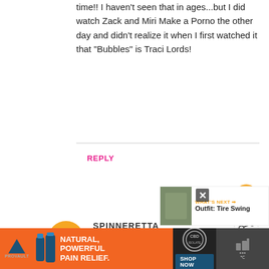time!! I haven't seen that in ages...but I did watch Zack and Miri Make a Porno the other day and didn't realize it when I first watched it that "Bubbles" is Traci Lords!
REPLY
SPINNERETTA
AUGUST 10, 2013 AT 9:17 PM
Brittany- you look lovely in that outfit! Love the brooch :)
REPLY
[Figure (infographic): Advertisement banner: Provault natural pain relief product ad with orange background, product bottles, CBD badge, and Shop Now button]
[Figure (infographic): What's Next panel showing thumbnail image and text 'Outfit: Tire Swing']